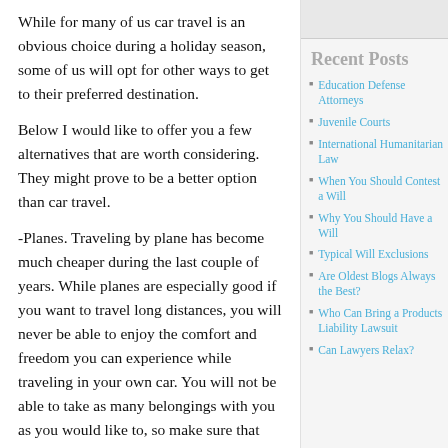While for many of us car travel is an obvious choice during a holiday season, some of us will opt for other ways to get to their preferred destination.
Below I would like to offer you a few alternatives that are worth considering. They might prove to be a better option than car travel.
-Planes. Traveling by plane has become much cheaper during the last couple of years. While planes are especially good if you want to travel long distances, you will never be able to enjoy the comfort and freedom you can experience while traveling in your own car. You will not be able to take as many belongings with you as you would like to, so make sure that you only take with you what you really need.
Recent Posts
Education Defense Attorneys
Juvenile Courts
International Humanitarian Law
When You Should Contest a Will
Why You Should Have a Will
Typical Will Exclusions
Are Oldest Blogs Always the Best?
Who Can Bring a Products Liability Lawsuit
Can Lawyers Relax?